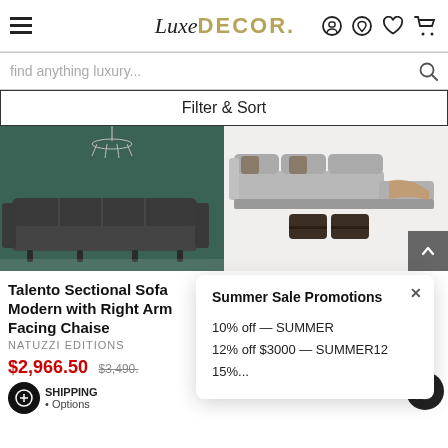LuxeDECOR — Navigation header with hamburger menu, logo, phone, account, wishlist, cart icons
find anything luxury...
Filter & Sort
[Figure (photo): Talento dark leather sectional sofa on green background with chandelier]
[Figure (photo): Bedford grey sectional sofa with floral pillows and ottomans on white background]
Talento Sectional Sofa Modern with Right Arm Facing Chaise
NATUZZI EDITIONS
$2,966.50  $3,490.
FREE SHIPPING
• Options
Bedford Sectional Sofa
BRAXTON CULLER
.77
Summer Sale Promotions
10% off — SUMMER
12% off $3000 — SUMMER12
15%...